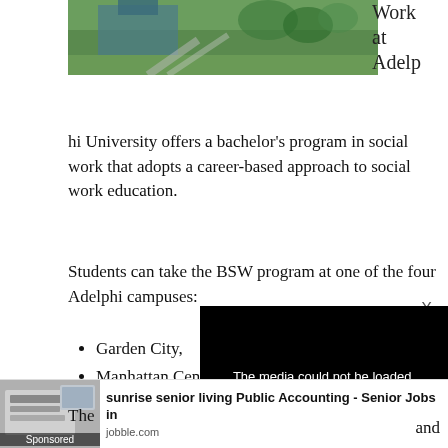[Figure (photo): Aerial view of a university campus with green lawns, walkways, and a building]
Work at Adelphi University offers a bachelor's program in social work that adopts a career-based approach to social work education.
Students can take the BSW program at one of the four Adelphi campuses:
Garden City,
Manhattan Center
Hauppauge Center
Hudson Valley Center
[Figure (screenshot): Media error overlay: The media could not be loaded, either because the server or network failed or because the format is not supported.]
[Figure (photo): Ad thumbnail showing laptop and documents — sunrise senior living Public Accounting Senior Jobs]
The
and